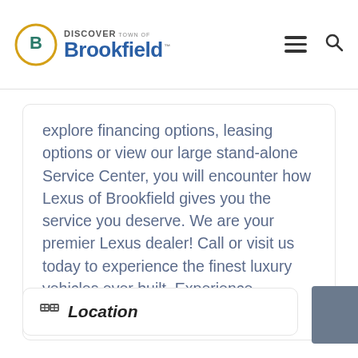Discover Town of Brookfield
explore financing options, leasing options or view our large stand-alone Service Center, you will encounter how Lexus of Brookfield gives you the service you deserve. We are your premier Lexus dealer! Call or visit us today to experience the finest luxury vehicles ever built. Experience Amazing!
Location